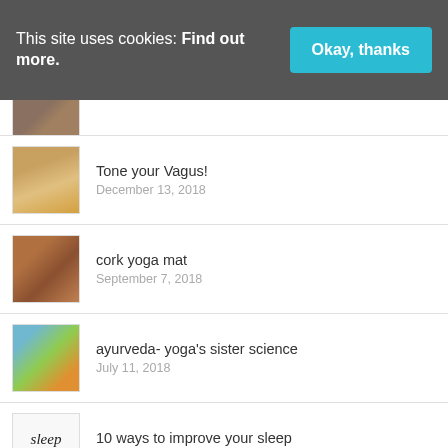This site uses cookies: Find out more. [Okay, thanks button]
[Figure (photo): Partially visible thumbnail image at top of list]
Tone your Vagus! — December 13, 2018
cork yoga mat — September 7, 2018
ayurveda- yoga's sister science — July 11, 2018
10 ways to improve your sleep — March 16, 2018
drink your greens. a review of lean greens — December 14, 2017